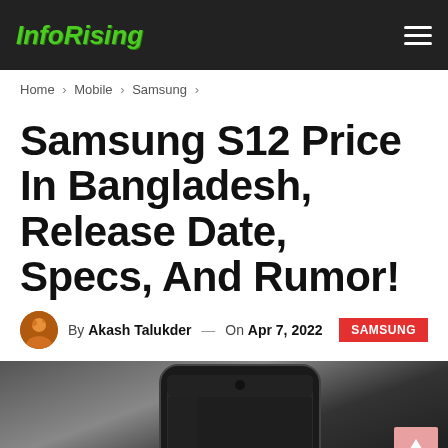InfoRising
Home > Mobile > Samsung >
Samsung S12 Price In Bangladesh, Release Date, Specs, And Rumor!
By Akash Talukder — On Apr 7, 2022   SAMSUNG
[Figure (photo): Photo of a Samsung smartphone at the bottom of the page, partially visible, with dark background]